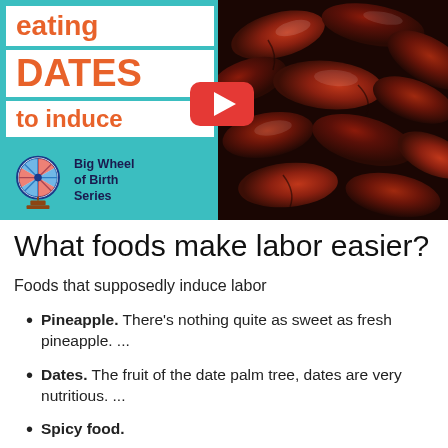[Figure (screenshot): YouTube video thumbnail showing text 'eating DATES to induce' on teal background with Big Wheel of Birth Series logo on left, and a close-up photo of dates fruit on right, with YouTube play button overlay.]
What foods make labor easier?
Foods that supposedly induce labor
Pineapple. There's nothing quite as sweet as fresh pineapple. ...
Dates. The fruit of the date palm tree, dates are very nutritious. ...
Spicy food.